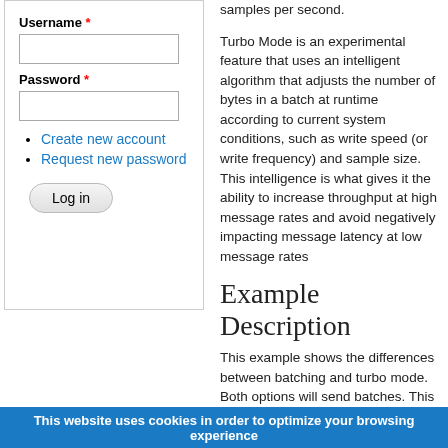Username *
Password *
Create new account
Request new password
Log in
samples per second.
Turbo Mode is an experimental feature that uses an intelligent algorithm that adjusts the number of bytes in a batch at runtime according to current system conditions, such as write speed (or write frequency) and sample size. This intelligence is what gives it the ability to increase throughput at high message rates and avoid negatively impacting message latency at low message rates
Example Description
This example shows the differences between batching and turbo mode. Both options will send batches. This means that instead of sending each sample out on the wire with its own header, the middleware will store the data in a batch until it is full and then will send the entire batch as one data packet.
This website uses cookies in order to optimize your browsing experience